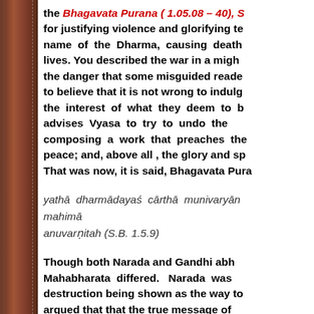the Bhagavata Purana ( 1.05.08 – 40), S for justifying violence and glorifying te name of the Dharma, causing death lives. You described the war in a migh the danger that some misguided reade to believe that it is not wrong to indul the interest of what they deem to b advises Vyasa to try to undo the composing a work that preaches the peace; and, above all , the glory and s That was now, it is said, Bhagavata Pur
yathā dharmādayaś cārthā munivaryān mahimā anuvarṇitah (S.B. 1.5.9)
Though both Narada and Gandhi abh Mahabharata differed. Narada was destruction being shown as the way t argued that that the true message of futility and the condemnation of violen
Perhaps no one else before Gandh